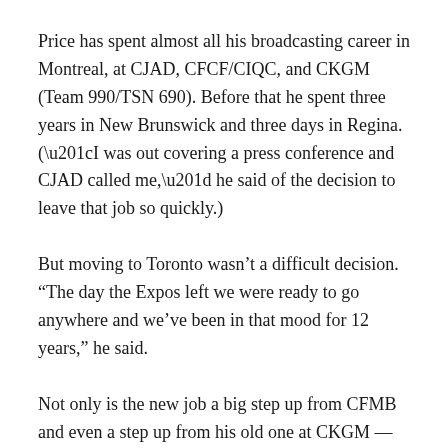Price has spent almost all his broadcasting career in Montreal, at CJAD, CFCF/CIQC, and CKGM (Team 990/TSN 690). Before that he spent three years in New Brunswick and three days in Regina. (“I was out covering a press conference and CJAD called me,” he said of the decision to leave that job so quickly.)
But moving to Toronto wasn’t a difficult decision. “The day the Expos left we were ready to go anywhere and we’ve been in that mood for 12 years,” he said.
Not only is the new job a big step up from CFMB and even a step up from his old one at CKGM — it’s in Canada’s largest sports market, and at a higher-rated sports station — but it gives him a chance to talk less about hockey.
“I’m a baseball fan. I love to talk baseball. I’m glad I get to talk about baseball again. (Montreal is) a one-horse town. There’s